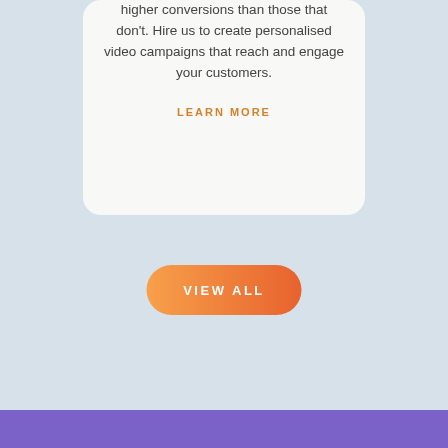higher conversions than those that don't. Hire us to create personalised video campaigns that reach and engage your customers.
LEARN MORE
VIEW ALL